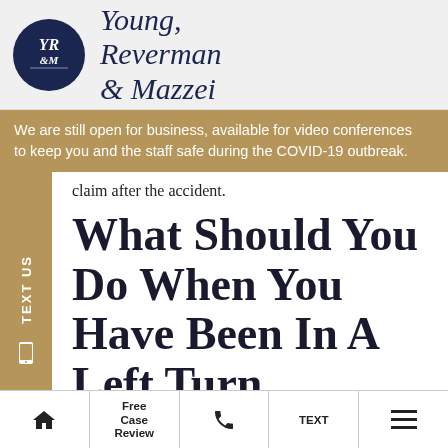[Figure (logo): Young, Reverman & Mazzei law firm logo with dark navy oval containing YR&M initials and firm name in italic serif font]
We are still open for business, available for video conferences to keep you and the staff safe during the COVID-19 outbreak.
claim after the accident.
What Should You Do When You Have Been In A Left Turn Accident In
Free Case Review | TEXT